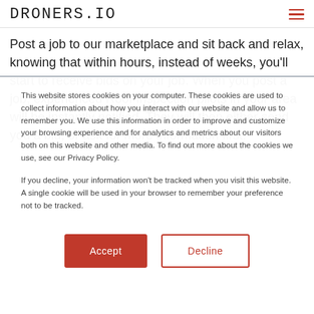DRONERS.IO
Post a job to our marketplace and sit back and relax, knowing that within hours, instead of weeks, you'll start to receive bids on your job. When you post a job, experienced Roof Inspection pilots in your area will be instantly notified. They will then either send you a bid, or ask for more information first.
This website stores cookies on your computer. These cookies are used to collect information about how you interact with our website and allow us to remember you. We use this information in order to improve and customize your browsing experience and for analytics and metrics about our visitors both on this website and other media. To find out more about the cookies we use, see our Privacy Policy.
If you decline, your information won't be tracked when you visit this website. A single cookie will be used in your browser to remember your preference not to be tracked.